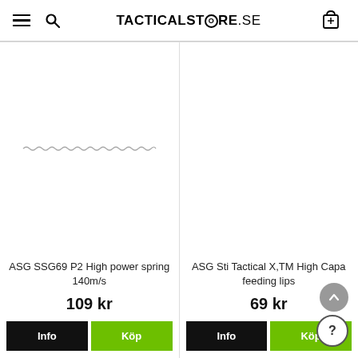TACTICALSTORE.SE
[Figure (photo): Product image area for ASG SSG69 P2 High power spring 140m/s — shows a coiled spring component]
ASG SSG69 P2 High power spring 140m/s
109 kr
[Figure (photo): Product image area for ASG Sti Tactical X,TM High Capa feeding lips — blank white area]
ASG Sti Tactical X,TM High Capa feeding lips
69 kr